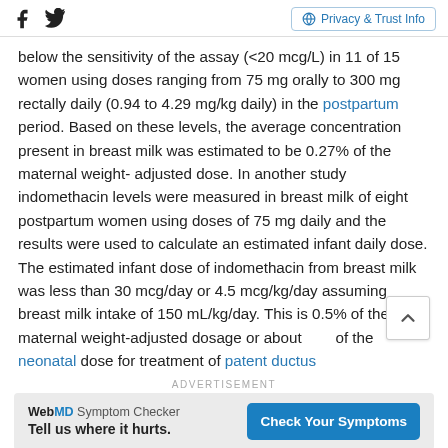Facebook | Twitter | Privacy & Trust Info
below the sensitivity of the assay (<20 mcg/L) in 11 of 15 women using doses ranging from 75 mg orally to 300 mg rectally daily (0.94 to 4.29 mg/kg daily) in the postpartum period. Based on these levels, the average concentration present in breast milk was estimated to be 0.27% of the maternal weight- adjusted dose. In another study indomethacin levels were measured in breast milk of eight postpartum women using doses of 75 mg daily and the results were used to calculate an estimated infant daily dose. The estimated infant dose of indomethacin from breast milk was less than 30 mcg/day or 4.5 mcg/kg/day assuming breast milk intake of 150 mL/kg/day. This is 0.5% of the maternal weight-adjusted dosage or about of the neonatal dose for treatment of patent ductus
ADVERTISEMENT
[Figure (infographic): WebMD Symptom Checker advertisement: 'Tell us where it hurts.' with 'Check Your Symptoms' button]